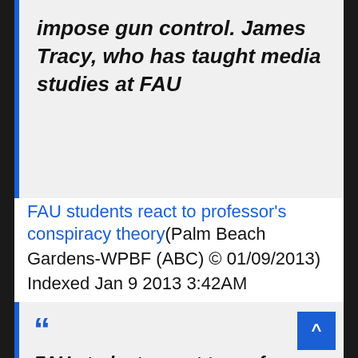impose gun control. James Tracy, who has taught media studies at FAU
FAU students react to professor's conspiracy theory(Palm Beach Gardens-WPBF (ABC) © 01/09/2013)
Indexed Jan 9 2013 3:42AM
FAU students react to professors conspiracy theory Florida Atlantic University professor James Tracy raised questions about